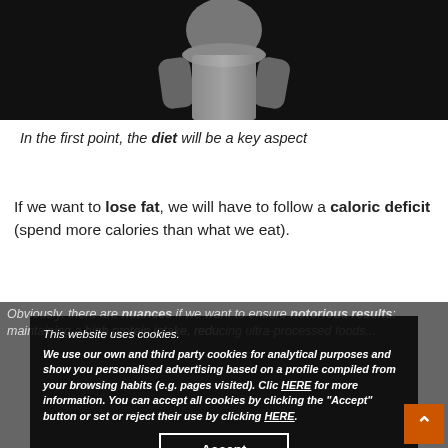[Figure (photo): Black and white photo of a muscular male torso/body from the chest down, with dark background]
In the first point, the diet will be a key aspect
If we want to lose fat, we will have to follow a caloric deficit (spend more calories than what we eat).
Obviously, there are nuances if we want to ensure notorious results: maintaining a high protein intake, redu... foods...
This website uses cookies.
We use our own and third party cookies for analytical purposes and show you personalised advertising based on a profile compiled from your browsing habits (e.g. pages visited). Clic HERE for more information. You can accept all cookies by clicking the "Accept" button or set or reject their use by clicking HERE.
Accept